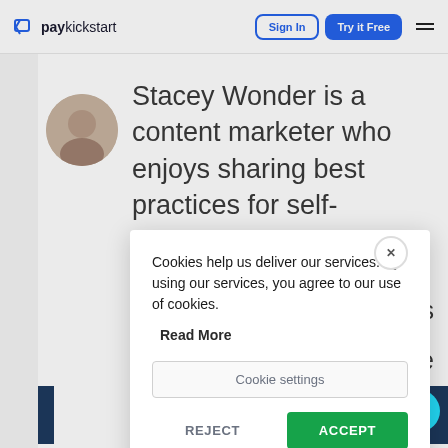[Figure (logo): PayKickstart logo with arrow icon on the left, text 'paykickstart' in dark color]
Sign In
Try it Free
[Figure (photo): Circular avatar photo of a person (Stacey Wonder)]
Stacey Wonder is a content marketer who enjoys sharing best practices for self-development and careers with
Cookies help us deliver our services. By using our services, you agree to our use of cookies.
Read More
Cookie settings
REJECT
ACCEPT